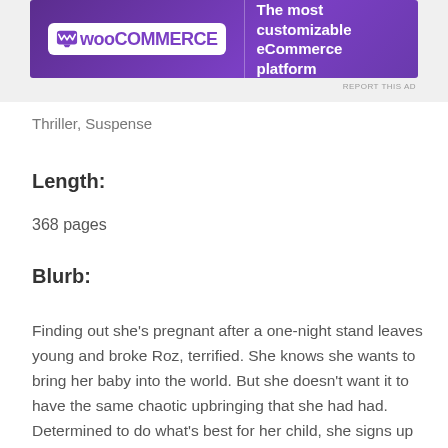[Figure (other): WooCommerce advertisement banner with purple background. Logo on left shows WooCommerce with speech bubble icon. Tagline on right reads: 'The most customizable eCommerce platform']
REPORT THIS AD
Thriller, Suspense
Length:
368 pages
Blurb:
Finding out she's pregnant after a one-night stand leaves young and broke Roz, terrified. She knows she wants to bring her baby into the world. But she doesn't want it to have the same chaotic upbringing that she had had. Determined to do what's best for her child, she signs up on an elite adoption service